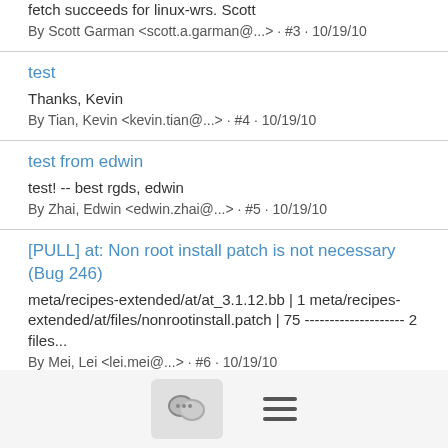fetch succeeds for linux-wrs. Scott
By Scott Garman <scott.a.garman@...> · #3 · 10/19/10
test
Thanks, Kevin
By Tian, Kevin <kevin.tian@...> · #4 · 10/19/10
test from edwin
test! -- best rgds, edwin
By Zhai, Edwin <edwin.zhai@...> · #5 · 10/19/10
[PULL] at: Non root install patch is not necessary (Bug 246)
meta/recipes-extended/at/at_3.1.12.bb | 1 meta/recipes-extended/at/files/nonrootinstall.patch | 75 -------------------- 2 files...
By Mei, Lei <lei.mei@...> · #6 · 10/19/10
Re: [PULL] at: Non root install patch is not necessary (Bug 246)
[Figure (screenshot): Bottom navigation bar with chat/comments icon button and hamburger menu icon]